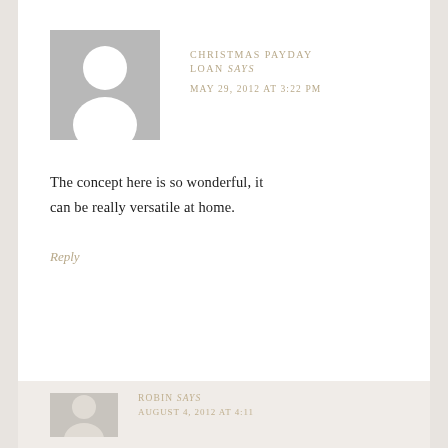[Figure (illustration): Gray avatar placeholder with white silhouette of a person (head and shoulders)]
CHRISTMAS PAYDAY LOAN says
MAY 29, 2012 AT 3:22 PM
The concept here is so wonderful, it can be really versatile at home.
Reply
[Figure (illustration): Gray avatar placeholder (partially visible, second comment)]
ROBIN says
AUGUST 4, 2012 AT 4:11